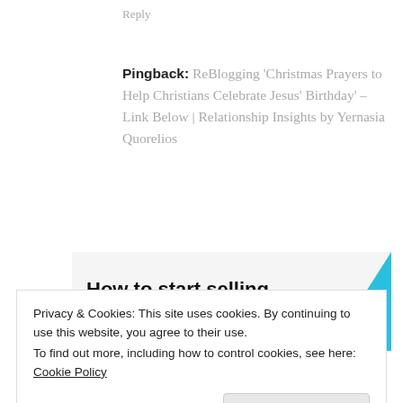Reply
Pingback: ReBlogging 'Christmas Prayers to Help Christians Celebrate Jesus' Birthday' – Link Below | Relationship Insights by Yernasia Quorelios
[Figure (infographic): Advertisement banner with bold text 'How to start selling subscriptions online' and a cyan/blue geometric shape on the right side]
Privacy & Cookies: This site uses cookies. By continuing to use this website, you agree to their use.
To find out more, including how to control cookies, see here: Cookie Policy
Close and accept